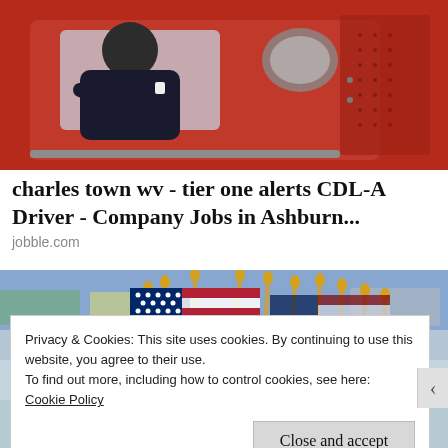[Figure (photo): A truck driver in a red truck cab, arms crossed, viewed from outside the window.]
charles town wv - tier one alerts CDL-A Driver - Company Jobs in Ashburn...
jobble.com
[Figure (photo): Multiple small American flags with gold tips displayed in a store aisle.]
Privacy & Cookies: This site uses cookies. By continuing to use this website, you agree to their use.
To find out more, including how to control cookies, see here:
Cookie Policy
Close and accept